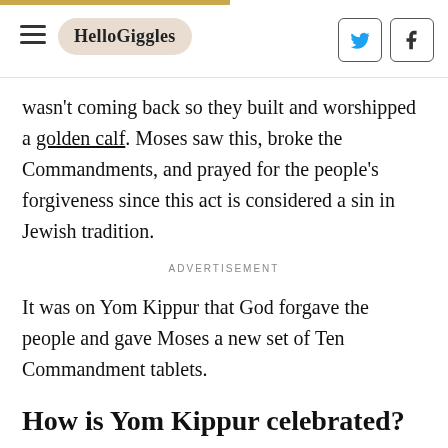HelloGiggles
wasn't coming back so they built and worshipped a golden calf. Moses saw this, broke the Commandments, and prayed for the people's forgiveness since this act is considered a sin in Jewish tradition.
ADVERTISEMENT
It was on Yom Kippur that God forgave the people and gave Moses a new set of Ten Commandment tablets.
How is Yom Kippur celebrated?